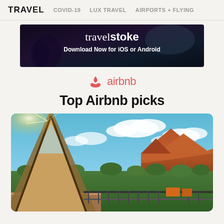TRAVEL   COVID-19   LUX TRAVEL   AIRPORTS + FLYING
[Figure (screenshot): TravelStoke app advertisement banner with dark background showing 'travelstoke Download Now for iOS or Android']
[Figure (logo): Airbnb logo with pink/red color: airbnb symbol and text]
Top Airbnb picks
[Figure (photo): A-frame cabin deck with mountain and forest views under blue sky with clouds, Zion National Park area]